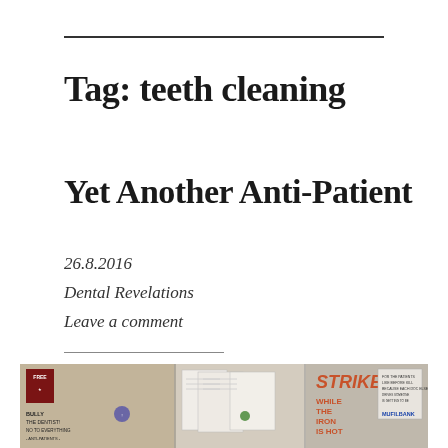Tag: teeth cleaning
Yet Another Anti-Patient
26.8.2016
Dental Revelations
Leave a comment
[Figure (photo): Bulletin board with protest signs including 'STRIKE!', 'WHILE THE IRON IS HOT', 'BULLY THE DENTIST! NO TO EVERYTHING -ANTI-PATIENTS-', and other posted documents and notices.]